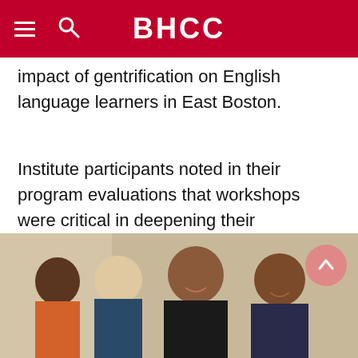BHCC
impact of gentrification on English language learners in East Boston.
Institute participants noted in their program evaluations that workshops were critical in deepening their understanding of equity and cultural wealth, and honing their ability to integrate high-impact practices into their work.
[Figure (photo): Group of four people seated together smiling, appearing to be at a workshop or meeting event.]